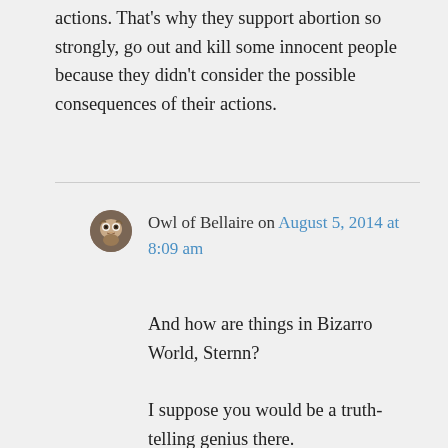actions. That's why they support abortion so strongly, go out and kill some innocent people because they didn't consider the possible consequences of their actions.
Owl of Bellaire on August 5, 2014 at 8:09 am
And how are things in Bizarro World, Sternn?

I suppose you would be a truth-telling genius there.